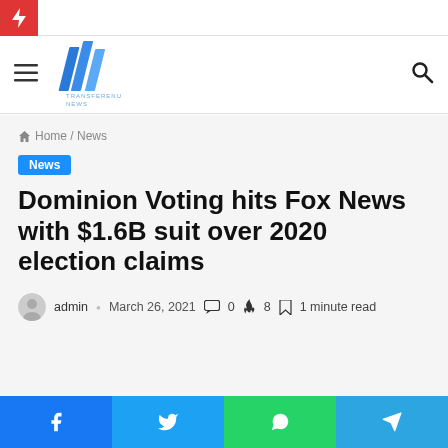News website header with lightning bolt icon, hamburger menu, logo (three blue slashes with text 'Transferenu News'), and search icon
Home / News
News
Dominion Voting hits Fox News with $1.6B suit over 2020 election claims
admin · March 26, 2021 · 0 comments · 8 · 1 minute read
Facebook Twitter WhatsApp Telegram social share buttons